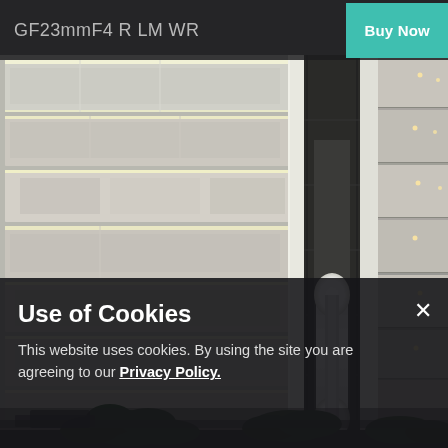[Figure (photo): Interior atrium of a large hotel or commercial building, showing multiple floors with balconies, illuminated white stone wall panels on the left, a glass elevator capsule in the center, and warm-lit balcony corridors on the right. Tropical plants visible at the bottom.]
GF23mmF4 R LM WR   Buy Now
Use of Cookies
This website uses cookies. By using the site you are agreeing to our Privacy Policy.